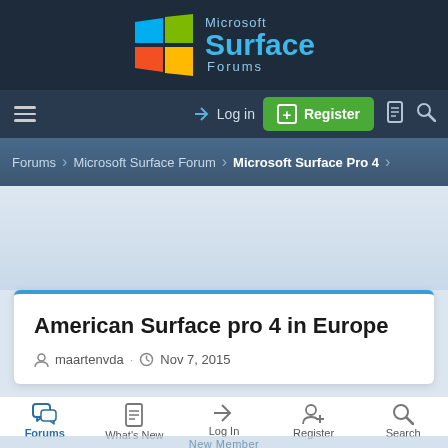[Figure (logo): Microsoft Surface Forums logo with Windows flag icon and text]
≡  → Log in  ⊞ Register  🗋  🔍
Forums > Microsoft Surface Forum > Microsoft Surface Pro 4
American Surface pro 4 in Europe
maartenvda · Nov 7, 2015
Forums  What's New  Log In  Register  Search